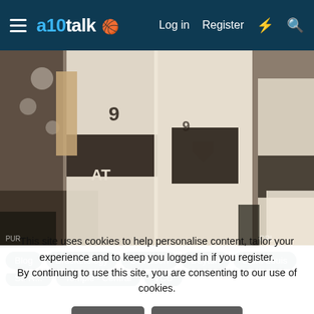a10talk — Log in  Register
[Figure (photo): Basketball players in white and dark uniforms sitting/standing on the bench, showing torsos, shorts, and legs. Uniforms have 'A10' branding and conference shield logo.]
Blog
Bracketology
Davidson
Dayton
Saint Louis
This site uses cookies to help personalise content, tailor your experience and to keep you logged in if you register.
By continuing to use this site, you are consenting to our use of cookies.
✓ Accept   Learn more...